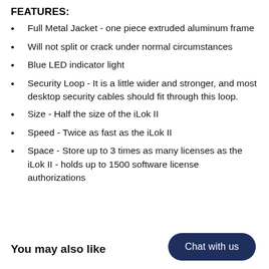FEATURES:
Full Metal Jacket - one piece extruded aluminum frame
Will not split or crack under normal circumstances
Blue LED indicator light
Security Loop - It is a little wider and stronger, and most desktop security cables should fit through this loop.
Size - Half the size of the iLok II
Speed - Twice as fast as the iLok II
Space - Store up to 3 times as many licenses as the iLok II - holds up to 1500 software license authorizations
You may also like
Chat with us